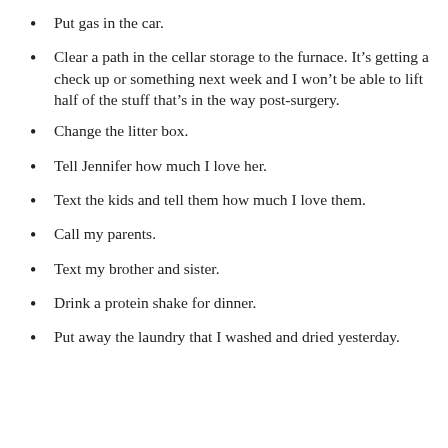Put gas in the car.
Clear a path in the cellar storage to the furnace. It’s getting a check up or something next week and I won’t be able to lift half of the stuff that’s in the way post-surgery.
Change the litter box.
Tell Jennifer how much I love her.
Text the kids and tell them how much I love them.
Call my parents.
Text my brother and sister.
Drink a protein shake for dinner.
Put away the laundry that I washed and dried yesterday.